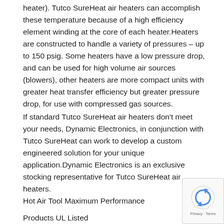heater).  Tutco SureHeat air heaters can accomplish these temperature because of a high efficiency element winding at the core of each heater.Heaters are constructed to handle a variety of pressures – up to 150 psig.  Some heaters have a low pressure drop, and can be used for high volume air sources (blowers), other heaters are more compact units with greater heat transfer efficiency but greater pressure drop, for use with compressed gas sources.
If standard Tutco SureHeat air heaters don't meet your needs, Dynamic Electronics, in conjunction with Tutco SureHeat can work to develop a custom engineered solution for your unique application.Dynamic Electronics is an exclusive stocking representative for Tutco SureHeat air heaters.
Hot Air Tool Maximum Performance
Products UL Listed